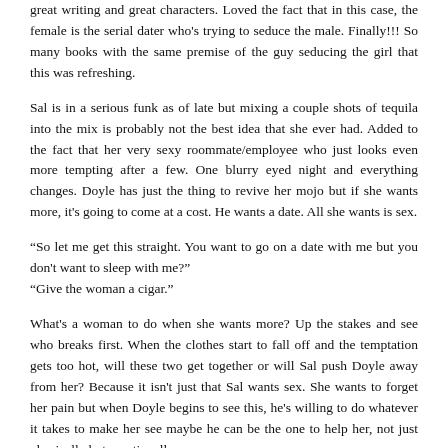great writing and great characters. Loved the fact that in this case, the female is the serial dater who's trying to seduce the male. Finally!!! So many books with the same premise of the guy seducing the girl that this was refreshing.
Sal is in a serious funk as of late but mixing a couple shots of tequila into the mix is probably not the best idea that she ever had. Added to the fact that her very sexy roommate/employee who just looks even more tempting after a few. One blurry eyed night and everything changes. Doyle has just the thing to revive her mojo but if she wants more, it's going to come at a cost. He wants a date. All she wants is sex.
“So let me get this straight. You want to go on a date with me but you don't want to sleep with me?”
“Give the woman a cigar.”
What's a woman to do when she wants more? Up the stakes and see who breaks first. When the clothes start to fall off and the temptation gets too hot, will these two get together or will Sal push Doyle away from her? Because it isn't just that Sal wants sex. She wants to forget her pain but when Doyle begins to see this, he's willing to do whatever it takes to make her see maybe he can be the one to help her, not just physically but emotionally.
“There’d been something so desperate, so…aching and broken about her last night, it had called to every one of his masculine instincts.”
Can I also say, I will never think of fairy floss/cotton candy in the same way again? The author has a hell of an imagination that I feel like should